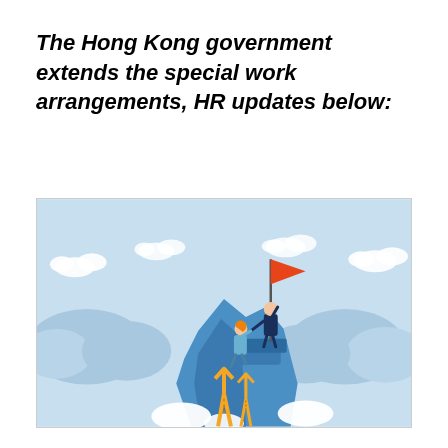The Hong Kong government extends the special work arrangements, HR updates below:
[Figure (illustration): Illustration of two business people on top of a blue mountain peak. A man in a suit holds an orange flag at the summit while helping pull up a woman with orange hair. Golden upward arrows are visible on the mountain face. The background shows a light blue sky with white clouds and soft blue mountain silhouettes.]